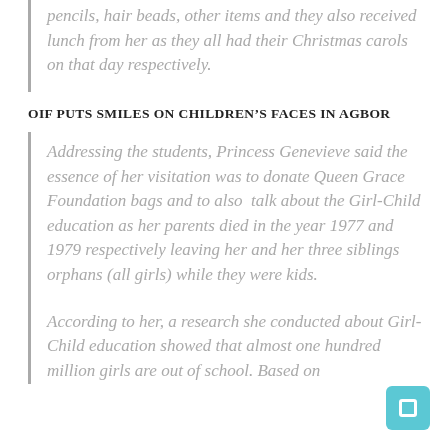pencils, hair beads, other items and they also received lunch from her as they all had their Christmas carols on that day respectively.
OIF PUTS SMILES ON CHILDREN’S FACES IN AGBOR
Addressing the students, Princess Genevieve said the essence of her visitation was to donate Queen Grace Foundation bags and to also talk about the Girl-Child education as her parents died in the year 1977 and 1979 respectively leaving her and her three siblings orphans (all girls) while they were kids.
According to her, a research she conducted about Girl-Child education showed that almost one hundred million girls are out of school. Based on